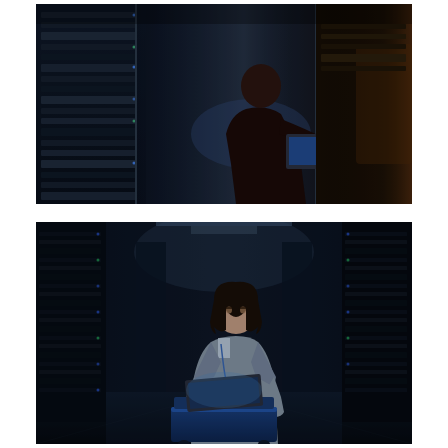[Figure (photo): A man working on a laptop computer mounted in a server rack in a dark data center, with rows of server equipment visible. The scene is lit with blue/cool tones with reflections visible on the glass door.]
[Figure (photo): A woman with dark hair wearing a blue lanyard and grey blazer working on a laptop on a blue cart in a dark data center corridor with server racks on either side. Blue and cool lighting.]